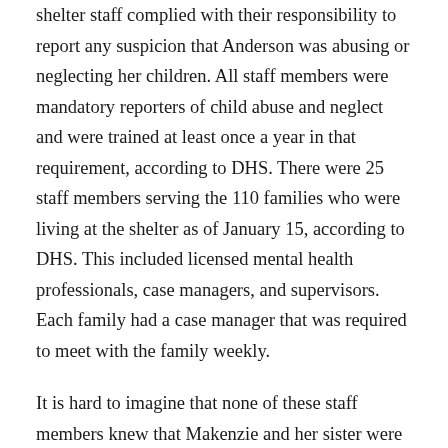shelter staff complied with their responsibility to report any suspicion that Anderson was abusing or neglecting her children. All staff members were mandatory reporters of child abuse and neglect and were trained at least once a year in that requirement, according to DHS. There were 25 staff members serving the 110 families who were living at the shelter as of January 15, according to DHS. This included licensed mental health professionals, case managers, and supervisors. Each family had a case manager that was required to meet with the family weekly.
It is hard to imagine that none of these staff members knew that Makenzie and her sister were in peril. In a December article, Petula Dvorak reported that other residents of the Quality Inn knew that Makenzie was in